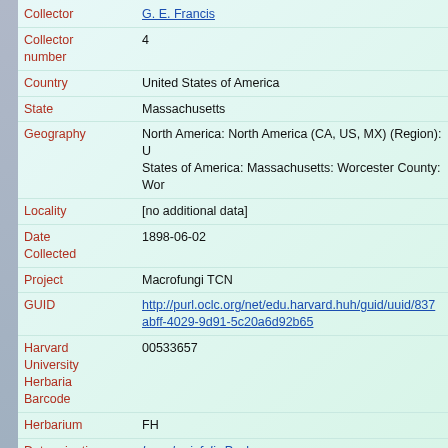| Field | Value |
| --- | --- |
| Collector | G. E. Francis |
| Collector number | 4 |
| Country | United States of America |
| State | Massachusetts |
| Geography | North America: North America (CA, US, MX) (Region): United States of America: Massachusetts: Worcester County: Wor... |
| Locality | [no additional data] |
| Date Collected | 1898-06-02 |
| Project | Macrofungi TCN |
| GUID | http://purl.oclc.org/net/edu.harvard.huh/guid/uuid/837...abff-4029-9d91-5c20a6d92b65 |
| Harvard University Herbaria Barcode | 00533657 |
| Herbarium | FH |
| Determination | Inocybe infelix Peck |
| Determination Remarks | [is filed under name] [is Current name] |
| Subcollection | Burt Fungus Herbarium |